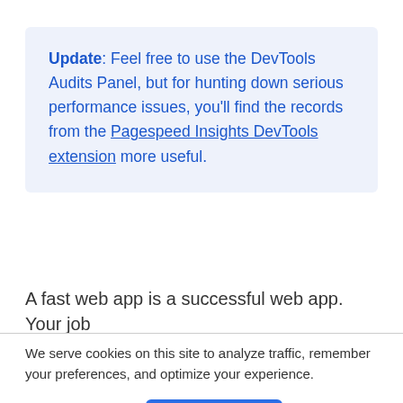Update: Feel free to use the DevTools Audits Panel, but for hunting down serious performance issues, you'll find the records from the Pagespeed Insights DevTools extension more useful.
A fast web app is a successful web app. Your job
We serve cookies on this site to analyze traffic, remember your preferences, and optimize your experience.
More details   Ok, Got it.